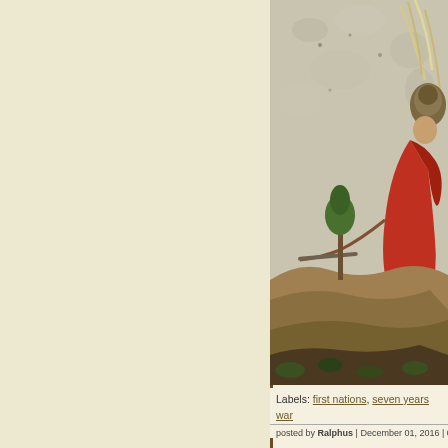[Figure (illustration): A fragment of a Persian/Mughal manuscript miniature painting showing a warrior or figure in red robes reclining or fighting on rocky terrain, with a tree and birds/feathers visible against a textured pale background.]
Labels: first nations, seven years war
posted by Ralphus | December 01, 2016 | 0 comme...